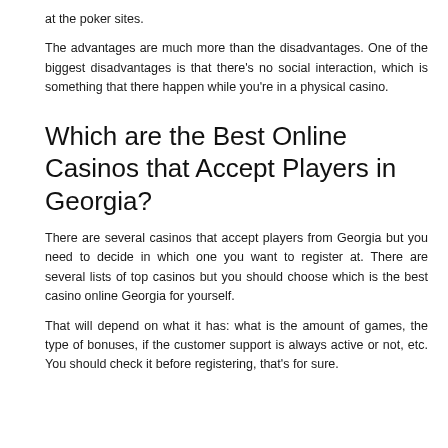at the poker sites.
The advantages are much more than the disadvantages. One of the biggest disadvantages is that there’s no social interaction, which is something that there happen while you’re in a physical casino.
Which are the Best Online Casinos that Accept Players in Georgia?
There are several casinos that accept players from Georgia but you need to decide in which one you want to register at. There are several lists of top casinos but you should choose which is the best casino online Georgia for yourself.
That will depend on what it has: what is the amount of games, the type of bonuses, if the customer support is always active or not, etc. You should check it before registering, that’s for sure.